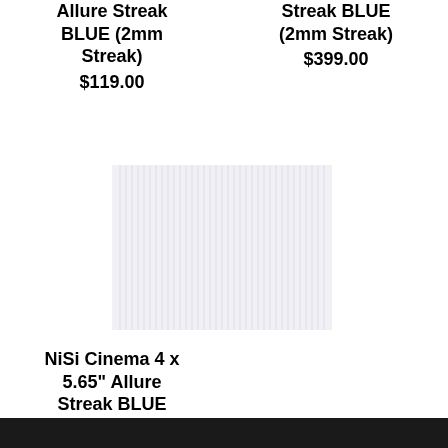Allure Streak BLUE (2mm Streak)
$119.00
Streak BLUE (2mm Streak)
$399.00
[Figure (photo): Product image of NiSi Cinema 4x5.65 Allure Streak BLUE filter showing vertical streak pattern on a white/light grey background]
NiSi Cinema 4 x 5.65" Allure Streak BLUE (2mm Streak)
$299.00